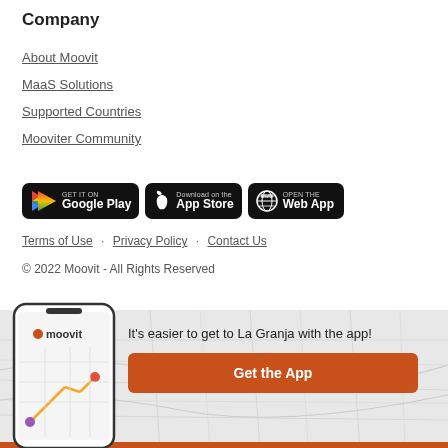Company
About Moovit
MaaS Solutions
Supported Countries
Mooviter Community
[Figure (other): GET IT ON Google Play button]
[Figure (other): Download on the App Store button]
[Figure (other): OPEN THE Web App button]
Terms of Use · Privacy Policy · Contact Us
© 2022 Moovit - All Rights Reserved
[Figure (screenshot): Moovit app phone mockup with map and route illustration, with promo text: It's easier to get to La Granja with the app! and Get the App button]